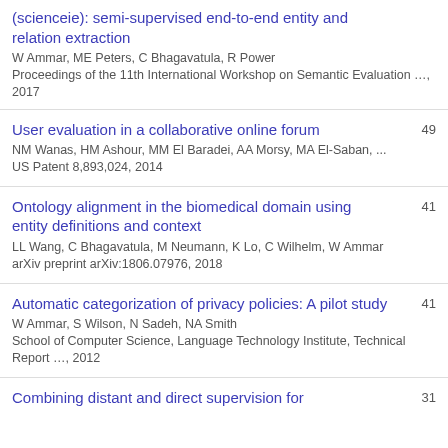(scienceie): semi-supervised end-to-end entity and relation extraction
W Ammar, ME Peters, C Bhagavatula, R Power
Proceedings of the 11th International Workshop on Semantic Evaluation …, 2017
User evaluation in a collaborative online forum
NM Wanas, HM Ashour, MM El Baradei, AA Morsy, MA El-Saban, ...
US Patent 8,893,024, 2014
49
Ontology alignment in the biomedical domain using entity definitions and context
LL Wang, C Bhagavatula, M Neumann, K Lo, C Wilhelm, W Ammar
arXiv preprint arXiv:1806.07976, 2018
41
Automatic categorization of privacy policies: A pilot study
W Ammar, S Wilson, N Sadeh, NA Smith
School of Computer Science, Language Technology Institute, Technical Report …, 2012
41
Combining distant and direct supervision for
31